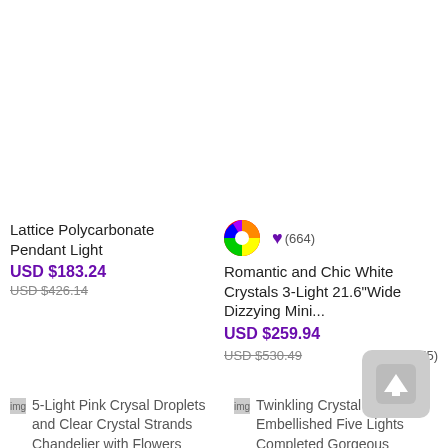Lattice Polycarbonate Pendant Light
USD $183.24
USD $426.14
(664)
Romantic and Chic White Crystals 3-Light 21.6"Wide Dizzying Mini...
USD $259.94
USD $530.49
(655)
5-Light Pink Crysal Droplets and Clear Crystal Strands Chandelier with Flowers
Twinkling Crystal Balls Embellished Five Lights Completed Gorgeous Modern Semi Flush Mount Ceiling Light